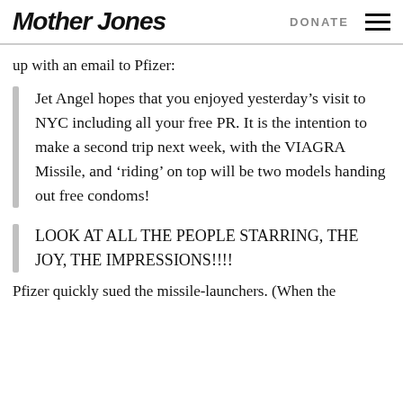Mother Jones  DONATE
up with an email to Pfizer:
Jet Angel hopes that you enjoyed yesterday’s visit to NYC including all your free PR. It is the intention to make a second trip next week, with the VIAGRA Missile, and ‘riding’ on top will be two models handing out free condoms!
LOOK AT ALL THE PEOPLE STARRING, THE JOY, THE IMPRESSIONS!!!!
Pfizer quickly sued the missile-launchers. (When the